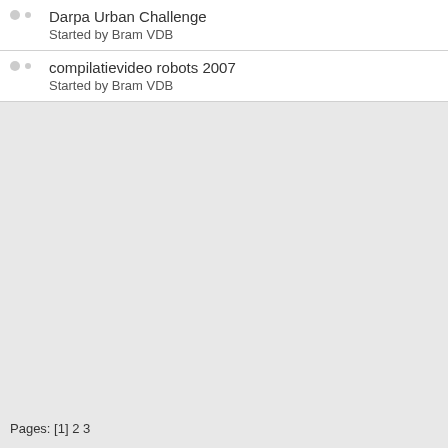Darpa Urban Challenge
Started by Bram VDB
compilatievideo robots 2007
Started by Bram VDB
Pages: [1] 2 3